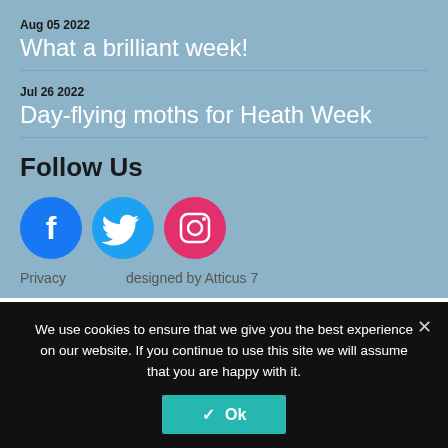Aug 05 2022
What a brilliant week!
Jul 26 2022
Day-flying moths for Heath Week
Follow Us
[Figure (infographic): Social media icons: Facebook (blue circle), Twitter (cyan circle), Instagram (pink circle)]
Privacy    designed by Atticus 7
We use cookies to ensure that we give you the best experience on our website. If you continue to use this site we will assume that you are happy with it.
✓ Ok